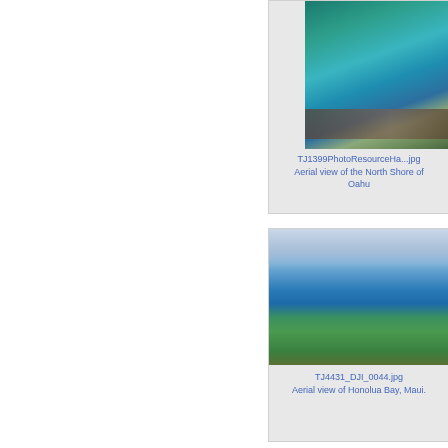[Figure (photo): Aerial view of the North Shore of Oahu, Hawaii - coastal aerial photograph showing turquoise ocean water and shoreline]
TJ1399PhotoResourceHa...jpg
Aerial view of the North Shore of Oahu
[Figure (photo): Aerial view of Honolua Bay, Maui - coastal aerial photograph showing green hillsides, bay, and ocean]
TJ4431_DJI_0044.jpg
Aerial view of Honolua Bay, Maui.
[Figure (photo): Partial aerial photograph - bottom of page, partially visible]